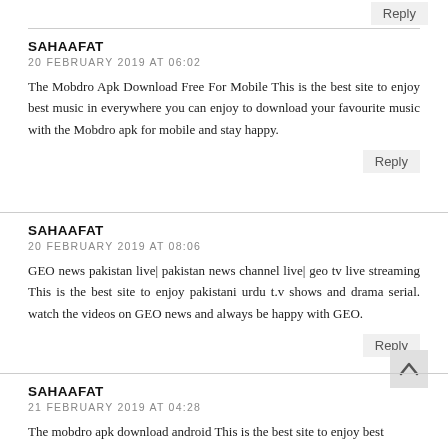Reply
SAHAAFAT
20 FEBRUARY 2019 AT 06:02
The Mobdro Apk Download Free For Mobile This is the best site to enjoy best music in everywhere you can enjoy to download your favourite music with the Mobdro apk for mobile and stay happy.
Reply
SAHAAFAT
20 FEBRUARY 2019 AT 08:06
GEO news pakistan live| pakistan news channel live| geo tv live streaming This is the best site to enjoy pakistani urdu t.v shows and drama serial. watch the videos on GEO news and always be happy with GEO.
Reply
SAHAAFAT
21 FEBRUARY 2019 AT 04:28
The mobdro apk download android This is the best site to enjoy best